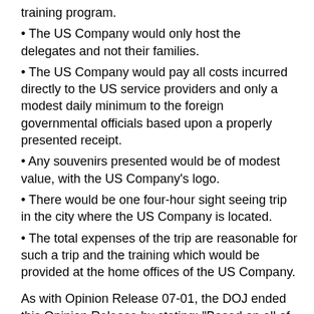training program.
The US Company would only host the delegates and not their families.
The US Company would pay all costs incurred directly to the US service providers and only a modest daily minimum to the foreign governmental officials based upon a properly presented receipt.
Any souvenirs presented would be of modest value, with the US Company's logo.
There would be one four-hour sight seeing trip in the city where the US Company is located.
The total expenses of the trip are reasonable for such a trip and the training which would be provided at the home offices of the US Company.
As with Opinion Release 07-01, the DOJ ended this Opinion Release by stating: "Based on all of the fact...